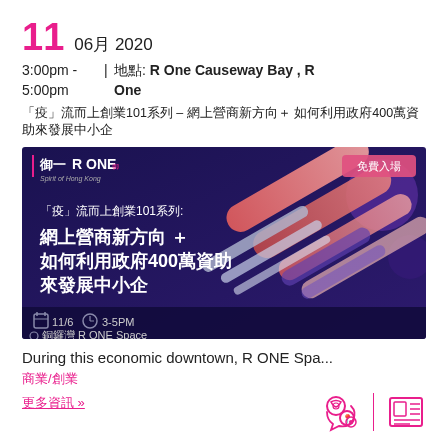11  06月 2020
3:00pm - 5:00pm  | 地點: R One Causeway Bay , R One
「疫」流而上創業101系列 – 網上營商新方向＋ 如何利用政府400萬資助來發展中小企
[Figure (illustration): Event promotional banner for R ONE showing Chinese text: 「疫」流而上創業101系列: 網上營商新方向＋如何利用政府400萬資助來發展中小企. Dark purple/navy background with colorful abstract ribbon shapes. Shows date 11/6, time 3-5PM, location 銅鑼灣 R ONE Space. Free entry badge 免費入場.]
During this economic downtown, R ONE Spa...
商業/創業
更多資訊 »